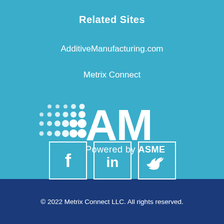Related Sites
AdditiveManufacturing.com
Metrix Connect
[Figure (logo): AM Powered by ASME logo — white stylized 'AM' letters with dot-grid pattern to the left, and 'Powered by ASME' text below, all on teal background]
[Figure (infographic): Three white-bordered square social media icons on teal background: Facebook (f), LinkedIn (in), and Twitter (bird icon)]
© 2022 Metrix Connect LLC. All rights reserved.